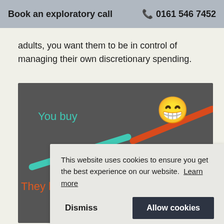Book an exploratory call   0161 546 7452
adults, you want them to be in control of managing their own discretionary spending.
[Figure (screenshot): Dark grey slide graphic showing 'You buy' in teal text with a smiley emoji, a teal diagonal line and an orange-red diagonal line, and partial 'They b...' text in orange at the bottom. A cookie consent overlay appears on top with text 'This website uses cookies to ensure you get the best experience on our website. Learn more' and two buttons: 'Dismiss' and 'Allow cookies'. Page number 18 visible at bottom right.]